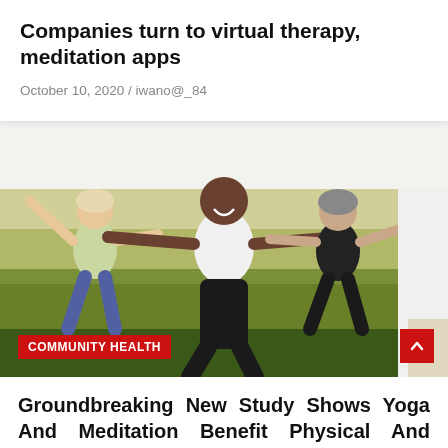Companies turn to virtual therapy, meditation apps
October 10, 2020 / iwano@_84
[Figure (photo): Group of adults doing outdoor yoga/exercise class with arms outstretched, led by smiling middle-aged Black man in white t-shirt, with a woman in green top and woman in black top visible, green field and light sky in background. Red 'COMMUNITY HEALTH' badge overlaid at bottom left.]
Groundbreaking New Study Shows Yoga And Meditation Benefit Physical And Mental Health